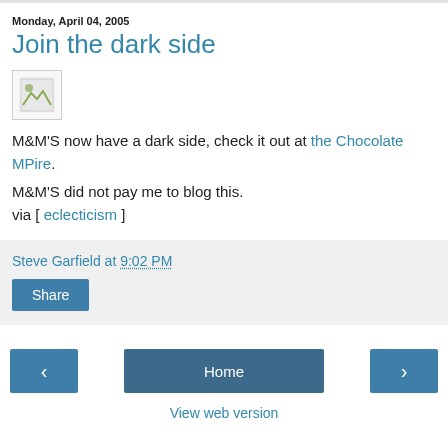Monday, April 04, 2005
Join the dark side
[Figure (photo): Small image thumbnail placeholder]
M&M'S now have a dark side, check it out at the Chocolate MPire.
M&M'S did not pay me to blog this.
via [ eclecticism ]
Steve Garfield at 9:02 PM
Share
Home | View web version